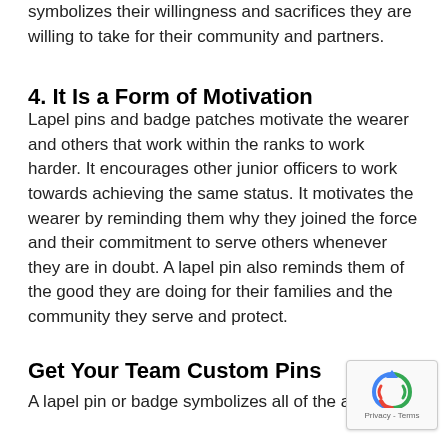symbolizes their willingness and sacrifices they are willing to take for their community and partners.
4. It Is a Form of Motivation
Lapel pins and badge patches motivate the wearer and others that work within the ranks to work harder. It encourages other junior officers to work towards achieving the same status. It motivates the wearer by reminding them why they joined the force and their commitment to serve others whenever they are in doubt. A lapel pin also reminds them of the good they are doing for their families and the community they serve and protect.
Get Your Team Custom Pins
A lapel pin or badge symbolizes all of the above